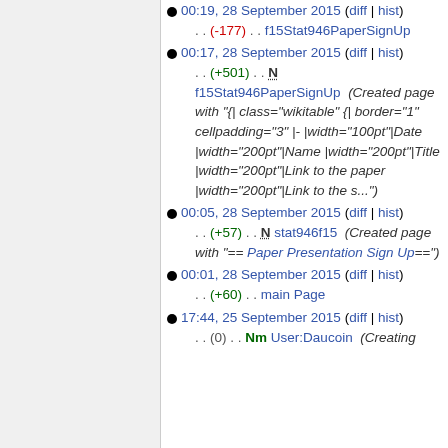00:19, 28 September 2015 (diff | hist) . . (-177) . . f15Stat946PaperSignUp
00:17, 28 September 2015 (diff | hist) . . (+501) . . N f15Stat946PaperSignUp (Created page with "{| class="wikitable" {| border="1" cellpadding="3" |- |width="100pt"|Date |width="200pt"|Name |width="200pt"|Title |width="200pt"|Link to the paper |width="200pt"|Link to the s...")
00:05, 28 September 2015 (diff | hist) . . (+57) . . N stat946f15 (Created page with "== Paper Presentation Sign Up==")
00:01, 28 September 2015 (diff | hist) . . (+60) . . main Page
17:44, 25 September 2015 (diff | hist) . . (0) . . Nm User:Daucoin (Creating